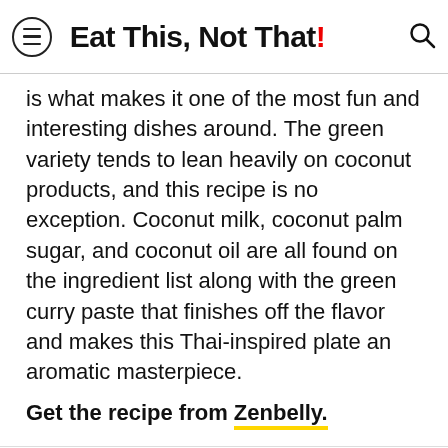Eat This, Not That!
is what makes it one of the most fun and interesting dishes around. The green variety tends to lean heavily on coconut products, and this recipe is no exception. Coconut milk, coconut palm sugar, and coconut oil are all found on the ingredient list along with the green curry paste that finishes off the flavor and makes this Thai-inspired plate an aromatic masterpiece.
Get the recipe from Zenbelly.
13 Moroccan Chicken